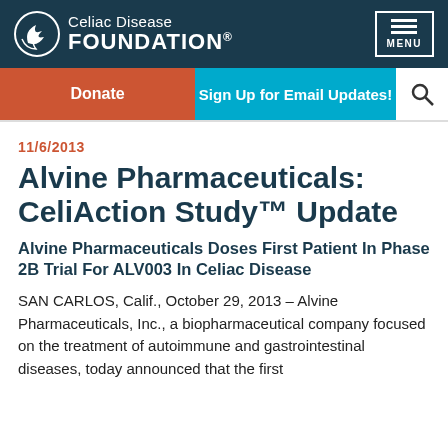Celiac Disease FOUNDATION®  MENU
Donate | Sign Up for Email Updates!
11/6/2013
Alvine Pharmaceuticals: CeliAction Study™ Update
Alvine Pharmaceuticals Doses First Patient In Phase 2B Trial For ALV003 In Celiac Disease
SAN CARLOS, Calif., October 29, 2013 – Alvine Pharmaceuticals, Inc., a biopharmaceutical company focused on the treatment of autoimmune and gastrointestinal diseases, today announced that the first